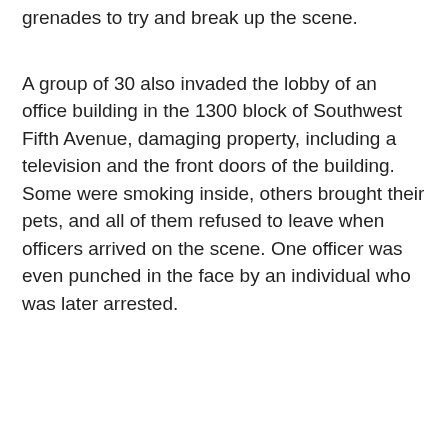grenades to try and break up the scene.
A group of 30 also invaded the lobby of an office building in the 1300 block of Southwest Fifth Avenue, damaging property, including a television and the front doors of the building. Some were smoking inside, others brought their pets, and all of them refused to leave when officers arrived on the scene. One officer was even punched in the face by an individual who was later arrested.